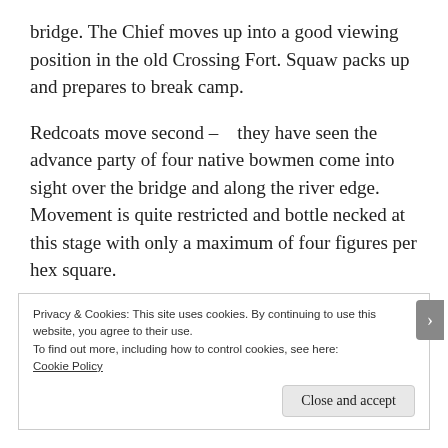bridge. The Chief moves up into a good viewing position in the old Crossing Fort. Squaw packs up and prepares to break camp.
Redcoats move second – they have seen the advance party of four native bowmen come into sight over the bridge and along the river edge. Movement is quite restricted and bottle necked at this stage with only a maximum of four figures per hex square.
Privacy & Cookies: This site uses cookies. By continuing to use this website, you agree to their use.
To find out more, including how to control cookies, see here: Cookie Policy